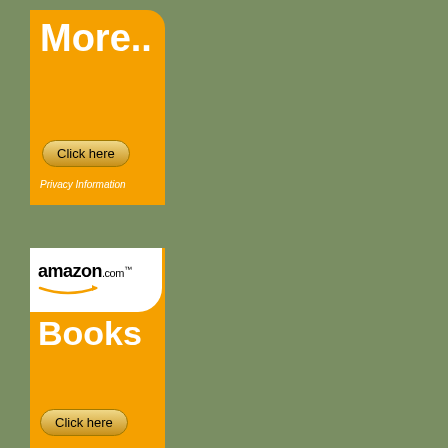[Figure (illustration): Orange advertisement banner with rounded top-right corner showing 'More..' text in white, a 'Click here' button, and 'Privacy Information' text in italic white]
[Figure (illustration): Orange Amazon.com Books advertisement banner with white logo box in top-left, 'Books' text in white bold, and 'Click here' button at bottom]